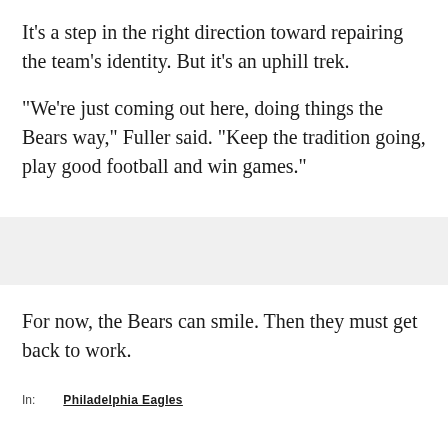It's a step in the right direction toward repairing the team's identity. But it's an uphill trek.
"We're just coming out here, doing things the Bears way," Fuller said. "Keep the tradition going, play good football and win games."
For now, the Bears can smile. Then they must get back to work.
In:   Philadelphia Eagles